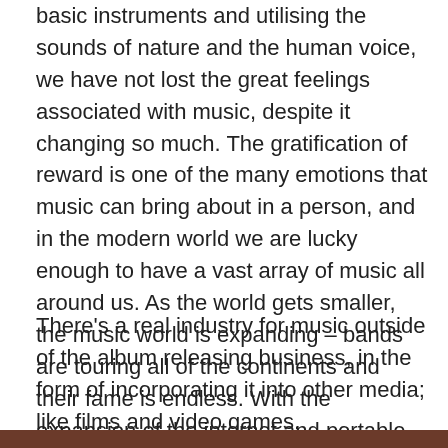basic instruments and utilising the sounds of nature and the human voice, we have not lost the great feelings associated with music, despite it changing so much. The gratification of reward is one of the many emotions that music can bring about in a person, and in the modern world we are lucky enough to have a vast array of music all around us. As the world gets smaller, the music world is expanding – bands are touring all of the continents and their fame is endless. With the expansion of the internet and portable technology, people are able to listen to urban hip hop in the Australian outback and to K-Pop in Brazil. Many of these people where kids who went to music classes for kids.
There's a real industry for music outside of the album releasing business, in the form of incorporating it into other media; like films and video games.